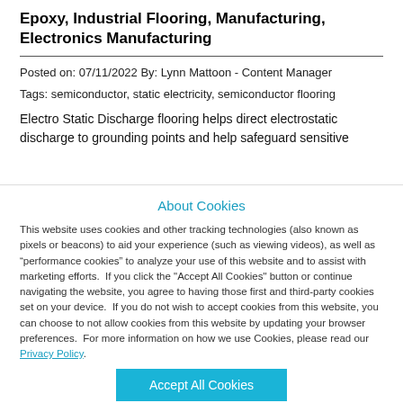Epoxy, Industrial Flooring, Manufacturing, Electronics Manufacturing
Posted on: 07/11/2022 By: Lynn Mattoon - Content Manager
Tags: semiconductor, static electricity, semiconductor flooring
Electro Static Discharge flooring helps direct electrostatic discharge to grounding points and help safeguard sensitive
About Cookies
This website uses cookies and other tracking technologies (also known as pixels or beacons) to aid your experience (such as viewing videos), as well as “performance cookies” to analyze your use of this website and to assist with marketing efforts.  If you click the "Accept All Cookies" button or continue navigating the website, you agree to having those first and third-party cookies set on your device.  If you do not wish to accept cookies from this website, you can choose to not allow cookies from this website by updating your browser preferences.  For more information on how we use Cookies, please read our Privacy Policy.
Accept All Cookies